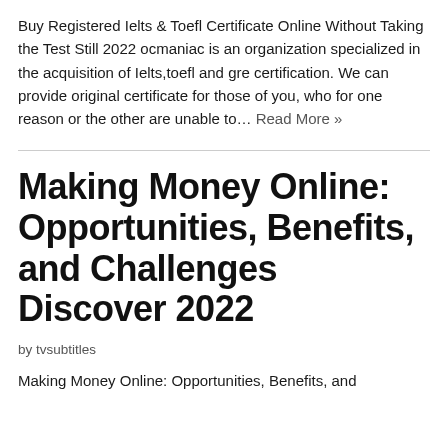Buy Registered Ielts & Toefl Certificate Online Without Taking the Test Still 2022 ocmaniac is an organization specialized in the acquisition of Ielts,toefl and gre certification. We can provide original certificate for those of you, who for one reason or the other are unable to… Read More »
Making Money Online: Opportunities, Benefits, and Challenges Discover 2022
by tvsubtitles
Making Money Online: Opportunities, Benefits, and